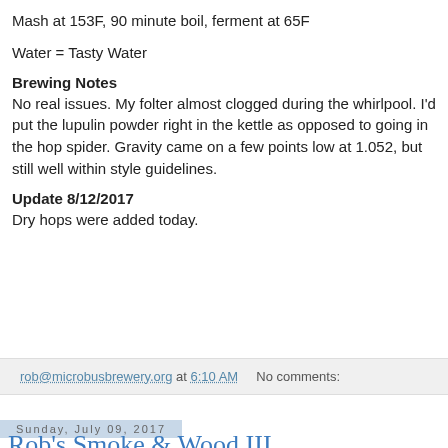Mash at 153F, 90 minute boil, ferment at 65F
Water = Tasty Water
Brewing Notes
No real issues. My folter almost clogged during the whirlpool. I'd put the lupulin powder right in the kettle as opposed to going in the hop spider. Gravity came on a few points low at 1.052, but still well within style guidelines.
Update 8/12/2017
Dry hops were added today.
rob@microbusbrewery.org at 6:10 AM    No comments:
Sunday, July 09, 2017
Rob's Smoke & Wood III